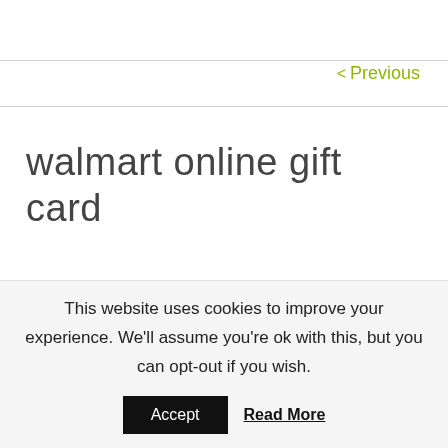< Previous
walmart online gift card
In stores just present the Walmart gift card at checkout. Online enter the gift card number and
This website uses cookies to improve your experience. We'll assume you're ok with this, but you can opt-out if you wish.
Accept  Read More